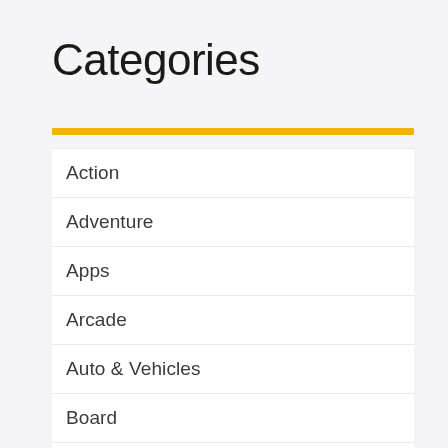Categories
Action
Adventure
Apps
Arcade
Auto & Vehicles
Board
Books & Reference